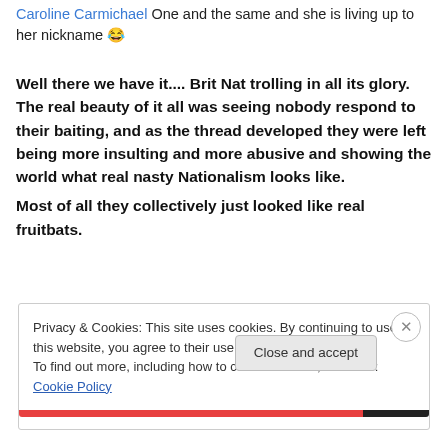Caroline Carmichael One and the same and she is living up to her nickname 😂
Well there we have it.... Brit Nat trolling in all its glory. The real beauty of it all was seeing nobody respond to their baiting, and as the thread developed they were left being more insulting and more abusive and showing the world what real nasty Nationalism looks like.
Most of all they collectively just looked like real fruitbats.
Privacy & Cookies: This site uses cookies. By continuing to use this website, you agree to their use.
To find out more, including how to control cookies, see here: Cookie Policy